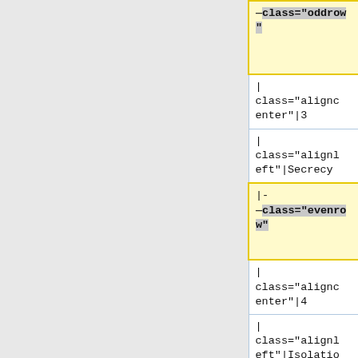[Figure (screenshot): A two-column diff view showing wiki/code table markup. Left column (yellow highlight) shows removed lines with class oddrow and evenrow. Right column (blue highlight) shows added lines. Rows contain wiki markup: |- class="oddrow", | class="aligncenter"|3, | class="alignleft"|Secrecy, |- class="evenrow", | class="aligncenter"|4, | class="alignleft"|Isolation.]